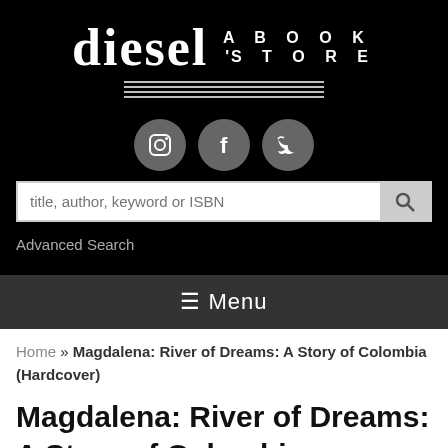[Figure (logo): Diesel A Book Store logo in white text on black background with horizontal lines beneath]
[Figure (infographic): Three social media icon circles: Instagram, Facebook, Twitter]
title, author, keyword or ISBN
Advanced Search
☰ Menu
Home » Magdalena: River of Dreams: A Story of Colombia (Hardcover)
Magdalena: River of Dreams: A Story of Colombia (Hardcover)
By Wade Davis